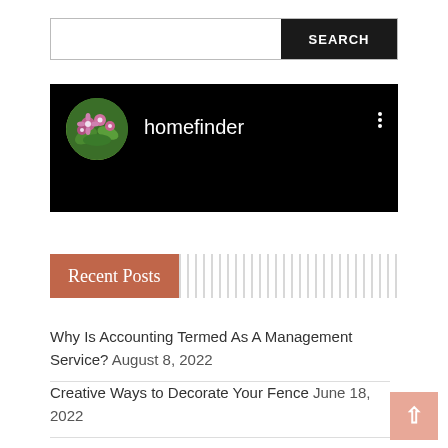[Figure (screenshot): Search bar with text input field and dark SEARCH button]
[Figure (screenshot): Black YouTube-style video block with circular flower avatar, channel name 'homefinder', and three vertical dots menu]
Recent Posts
Why Is Accounting Termed As A Management Service? August 8, 2022
Creative Ways to Decorate Your Fence June 18, 2022